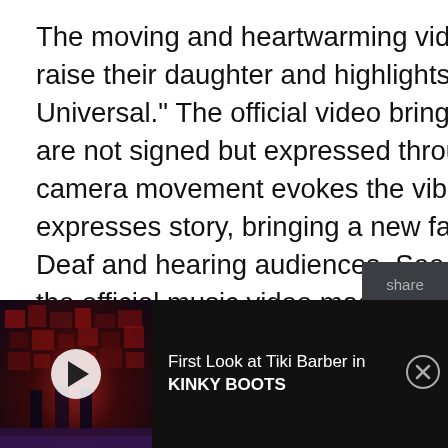The moving and heartwarming video features a Deaf family as they raise their daughter and highlights the importance of "Connection Is Universal." The official video brings an innovation in which the lyrics are not signed but expressed through story and images. The camera movement evokes the vibe and the mood of the song as it expresses story, bringing a new facet to the experience of music for Deaf and hearing audiences. See the behind-the-scenes video for the official music video made in collaboration with the actors and artists of Deaf West Theatre. Learn how the creators brought the song to life using choreography and camera work, creating an experience that tugs on the heartstrings of both Deaf and hearing audiences.
[Figure (screenshot): Share sidebar with Twitter and Facebook icons on dark background]
[Figure (screenshot): Ad banner at bottom showing stage from Kinky Boots with play button. Text reads: First Look at Tiki Barber in KINKY BOOTS]